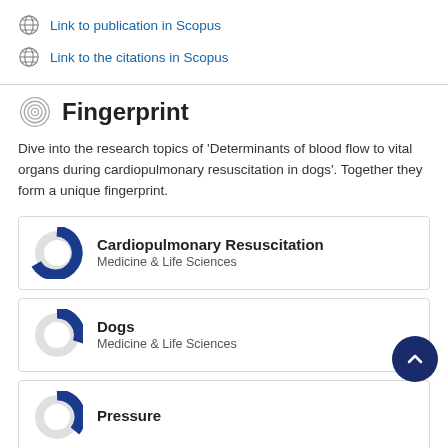Link to publication in Scopus
Link to the citations in Scopus
Fingerprint
Dive into the research topics of 'Determinants of blood flow to vital organs during cardiopulmonary resuscitation in dogs'. Together they form a unique fingerprint.
Cardiopulmonary Resuscitation
Medicine & Life Sciences
Dogs
Medicine & Life Sciences
Pressure